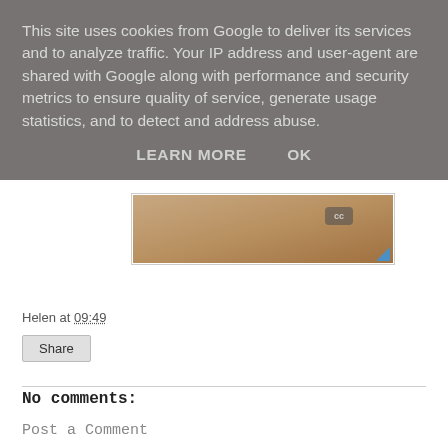This site uses cookies from Google to deliver its services and to analyze traffic. Your IP address and user-agent are shared with Google along with performance and security metrics to ensure quality of service, generate usage statistics, and to detect and address abuse.
LEARN MORE   OK
[Figure (photo): Partial image of an animal (likely a dog or cat) with a Creative Commons badge and blue corner mark, partially visible at bottom of cookie overlay]
Helen at 09:49
Share
No comments:
Post a Comment